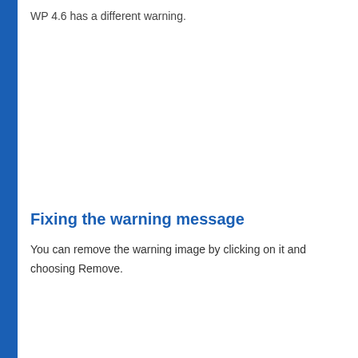WP 4.6 has a different warning.
[Figure (screenshot): Screenshot area showing WP 4.6 warning dialog (blank/white in this view)]
Fixing the warning message
You can remove the warning image by clicking on it and choosing Remove.